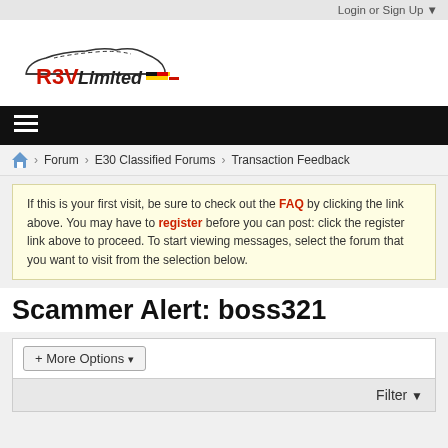Login or Sign Up ▼
[Figure (logo): R3VLimited forum logo with car silhouette and German flag colors]
≡
Forum > E30 Classified Forums > Transaction Feedback
If this is your first visit, be sure to check out the FAQ by clicking the link above. You may have to register before you can post: click the register link above to proceed. To start viewing messages, select the forum that you want to visit from the selection below.
Scammer Alert: boss321
+ More Options ▾
Filter ▼